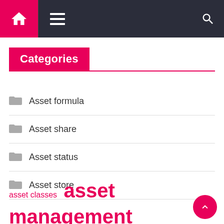Navigation bar with home, menu, and search icons
Categories
Asset formula
Asset share
Asset status
Asset store
asset classes  asset management  asset store  financial markets  future results  getty images  invasion ukraine